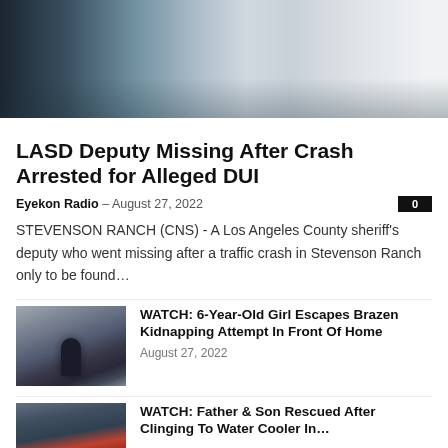[Figure (photo): Close-up photo of car windows with reflections, showing dark tinted windows and car roof.]
LASD Deputy Missing After Crash Arrested for Alleged DUI
Eyekon Radio – August 27, 2022
STEVENSON RANCH (CNS) - A Los Angeles County sheriff's deputy who went missing after a traffic crash in Stevenson Ranch only to be found...
[Figure (photo): Silhouette of a person standing in a foggy, dramatic scene.]
WATCH: 6-Year-Old Girl Escapes Brazen Kidnapping Attempt In Front Of Home
August 27, 2022
[Figure (photo): Person clinging to something in flood water.]
WATCH: Father & Son Rescued After Clinging To Water Cooler In...